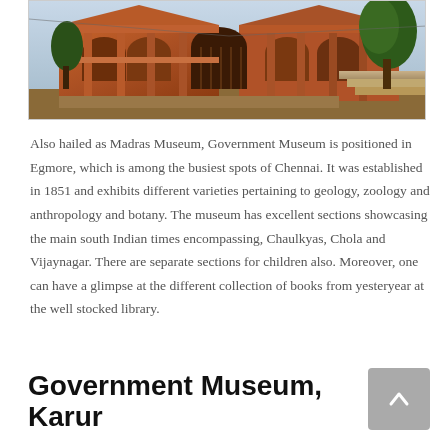[Figure (photo): Photograph of a large red brick colonial-style building (Government Museum, Madras/Chennai), showing arched entrances, columns, steps on the right side, and trees in the background.]
Also hailed as Madras Museum, Government Museum is positioned in Egmore, which is among the busiest spots of Chennai. It was established in 1851 and exhibits different varieties pertaining to geology, zoology and anthropology and botany. The museum has excellent sections showcasing the main south Indian times encompassing, Chaulkyas, Chola and Vijaynagar. There are separate sections for children also. Moreover, one can have a glimpse at the different collection of books from yesteryear at the well stocked library.
Government Museum, Karur